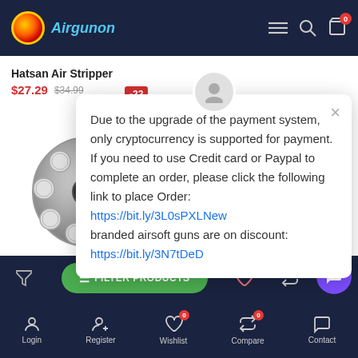[Figure (screenshot): Airgunon e-commerce website header with logo, navigation icons, and cart badge showing 0]
Hatsan Air Stripper
$27.29  $34.99  -22
[Figure (photo): Hatsan Air Stripper pellet magazine product image - circular silver metal magazine with multiple holes]
2.5 stars out of 5
Due to the upgrade of the payment system, only cryptocurrency is supported for payment. If you need to use Credit card or Paypal to complete an order, please click the following link to place Order: https://bit.ly/3L0sPXLNew branded airsoft guns are on discount: https://bit.ly/3N7tDeD
[Figure (screenshot): Filter Products button bar and bottom navigation bar with Login, Register, Wishlist (0), Compare (0), Contact icons]